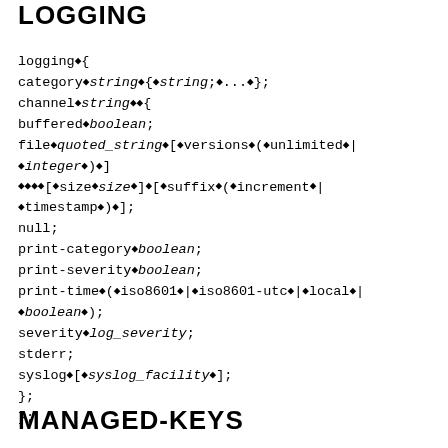LOGGING
logging◆{
category◆string◆{◆string;◆...◆};
channel◆string◆◆{
buffered◆boolean;
file◆quoted_string◆[◆versions◆(◆unlimited◆|◆integer◆)◆]
◆◆◆◆[◆size◆size◆][◆suffix◆(◆increment◆|◆timestamp◆)◆];
null;
print-category◆boolean;
print-severity◆boolean;
print-time◆(◆iso8601◆|◆iso8601-utc◆|◆local◆|◆boolean◆);
severity◆log_severity;
stderr;
syslog◆[◆syslog_facility◆];
};
};
MANAGED-KEYS